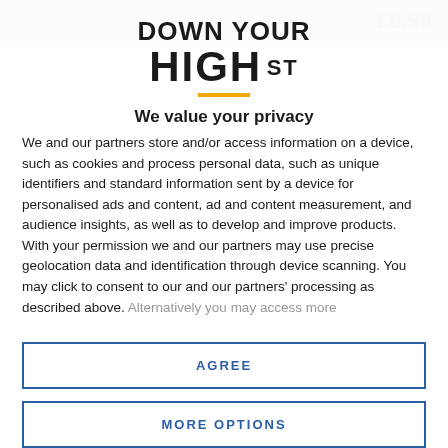Whirligig Toys  £8.99
[Figure (logo): Down Your High St logo — bold uppercase text with yellow underline accent]
We value your privacy
We and our partners store and/or access information on a device, such as cookies and process personal data, such as unique identifiers and standard information sent by a device for personalised ads and content, ad and content measurement, and audience insights, as well as to develop and improve products. With your permission we and our partners may use precise geolocation data and identification through device scanning. You may click to consent to our and our partners' processing as described above. Alternatively you may access more
AGREE
MORE OPTIONS